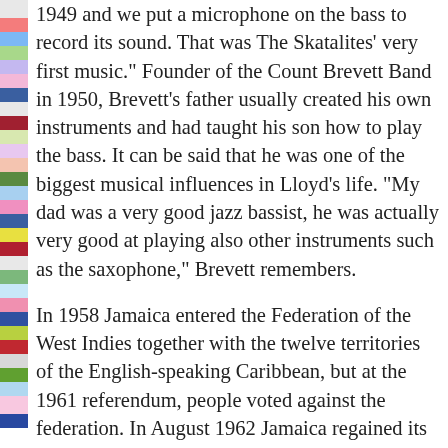1949 and we put a microphone on the bass to record its sound. That was The Skatalites' very first music." Founder of the Count Brevett Band in 1950, Brevett's father usually created his own instruments and had taught his son how to play the bass. It can be said that he was one of the biggest musical influences in Lloyd's life. "My dad was a very good jazz bassist, he was actually very good at playing also other instruments such as the saxophone," Brevett remembers.
In 1958 Jamaica entered the Federation of the West Indies together with the twelve territories of the English-speaking Caribbean, but at the 1961 referendum, people voted against the federation. In August 1962 Jamaica regained its independence. Brevett states ska is the voice of Jamaican independence and the Skatalites represent independence itself. "When we played for the independence right in Kingston," he underlines, "nearly ten thousand people came to see us."
In 1964, Prince Buster, Jimmy Cliff, Monty Morris and Millie Small appeared at New York World's Fair, backed b